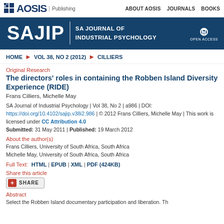AOSIS Publishing | ABOUT AOSIS | JOURNALS | BOOKS
[Figure (logo): SAJIP SA Journal of Industrial Psychology logo banner with Open Access badge]
HOME | VOL 38, NO 2 (2012) | CILLIERS
Original Research
The directors' roles in containing the Robben Island Diversity Experience (RIDE)
Frans Cilliers, Michelle May
SA Journal of Industrial Psychology | Vol 38, No 2 | a986 | DOI:
https://doi.org/10.4102/sajip.v38i2.986 | © 2012 Frans Cilliers, Michelle May | This work is licensed under CC Attribution 4.0
Submitted: 31 May 2011 | Published: 19 March 2012
About the author(s)
Frans Cilliers, University of South Africa, South Africa
Michelle May, University of South Africa, South Africa
Full Text:  HTML  | EPUB  | XML  | PDF (424KB)
Share this article
Abstract
Select the Robben Island documentary participation and liberation. Th